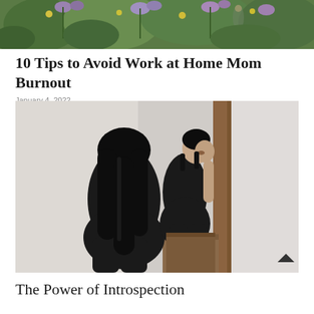[Figure (photo): Top banner photo showing wildflowers and foliage in a garden setting]
10 Tips to Avoid Work at Home Mom Burnout
January 4, 2022
[Figure (photo): Woman dressed in black sitting on a wooden stool looking at her reflection in a large wooden-framed mirror]
The Power of Introspection